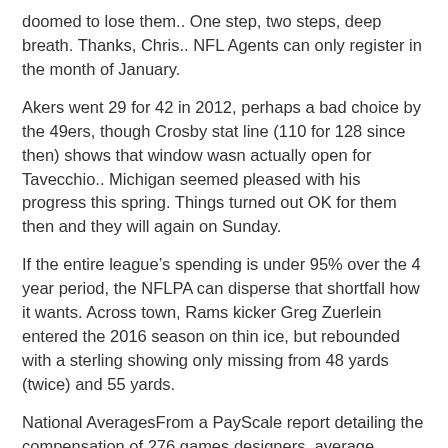doomed to lose them.. One step, two steps, deep breath. Thanks, Chris.. NFL Agents can only register in the month of January.
Akers went 29 for 42 in 2012, perhaps a bad choice by the 49ers, though Crosby stat line (110 for 128 since then) shows that window wasn actually open for Tavecchio.. Michigan seemed pleased with his progress this spring. Things turned out OK for them then and they will again on Sunday.
If the entire league’s spending is under 95% over the 4 year period, the NFLPA can disperse that shortfall how it wants. Across town, Rams kicker Greg Zuerlein entered the 2016 season on thin ice, but rebounded with a sterling showing only missing from 48 yards (twice) and 55 yards.
National AveragesFrom a PayScale report detailing the compensation of 276 games designers, average salaries range from $41,970 to $70,607. In parts of three seasons with the Vikings he rushed for 2,264 yards and 4.1 yards per carry.. “Consistency. The league and the players’ union are working to develop